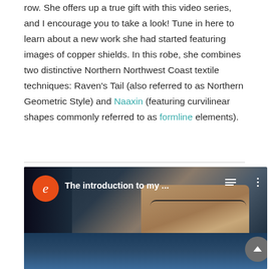row. She offers up a true gift with this video series, and I encourage you to take a look! Tune in here to learn about a new work she had started featuring images of copper shields. In this robe, she combines two distinctive Northern Northwest Coast textile techniques: Raven's Tail (also referred to as Northern Geometric Style) and Naaxin (featuring curvilinear shapes commonly referred to as formline elements).
[Figure (screenshot): Video thumbnail showing a woman looking down at weaving equipment, with an orange circle logo with 'e' on the left and the title 'The introduction to my ...' in white text. A grey scroll-to-top button appears at bottom right.]